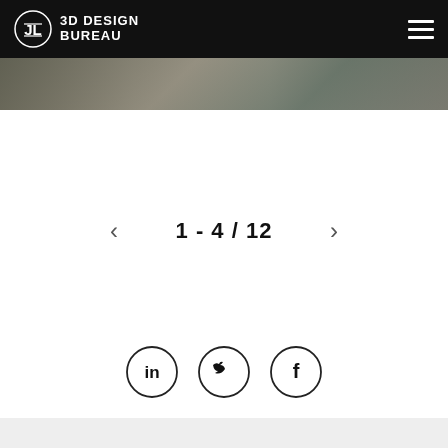3D DESIGN BUREAU
[Figure (screenshot): Image strip showing partial thumbnail images at the top of the gallery page]
1 - 4 / 12
[Figure (infographic): Social media icons: LinkedIn, Twitter, Facebook — each in a circle outline]